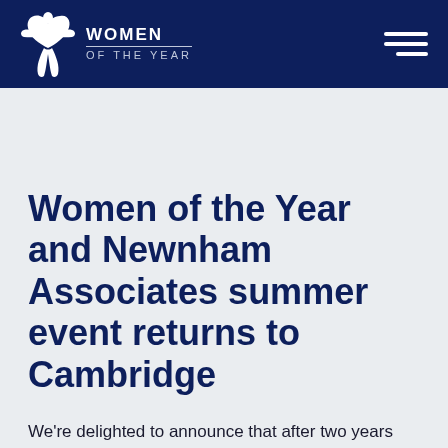WOMEN OF THE YEAR
Women of the Year and Newnham Associates summer event returns to Cambridge
We're delighted to announce that after two years online, the Women of the Year Alumnae Club has returned to Cambridge's Newnham College. Titled